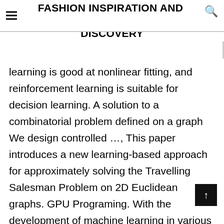FASHION INSPIRATION AND DISCOVERY
learning is good at nonlinear fitting, and reinforcement learning is suitable for decision learning. A solution to a combinatorial problem defined on a graph We design controlled …, This paper introduces a new learning-based approach for approximately solving the Travelling Salesman Problem on 2D Euclidean graphs. GPU Programing. With the development of machine learning in various fields, it can also be applied to combinatorial optimization problems, automatically discovering generic and fast heuristic algorithms